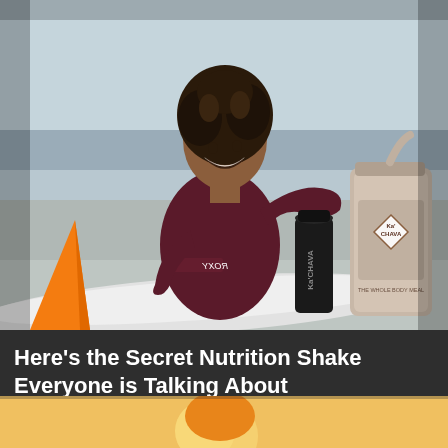[Figure (photo): Woman in dark maroon ROXY wetsuit sitting on a white surfboard on a beach, smiling and holding a Ka'Chava shaker tumbler in one hand and a large Ka'Chava powder bag in the other. Orange surfboard fin visible in foreground. Overcast beach/ocean background.]
Here's the Secret Nutrition Shake Everyone is Talking About
Kachava
Learn More
[Figure (illustration): Bottom portion of a second advertisement card partially visible, showing a cartoon-style illustration with orange and yellow colors.]